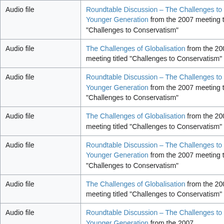| Audio file | Roundtable Discussion – The Challenges to the Younger Generation from the 2007 meeting titled "Challenges to Conservatism" |
| Audio file | The Challenges of Globalisation from the 2007 meeting titled "Challenges to Conservatism" |
| Audio file | Roundtable Discussion – The Challenges to the Younger Generation from the 2007 meeting titled "Challenges to Conservatism" |
| Audio file | The Challenges of Globalisation from the 2007 meeting titled "Challenges to Conservatism" |
| Audio file | Roundtable Discussion – The Challenges to the Younger Generation from the 2007 meeting titled "Challenges to Conservatism" |
| Audio file | The Challenges of Globalisation from the 2007 meeting titled "Challenges to Conservatism" |
| Audio file | Roundtable Discussion – The Challenges to the Younger Generation from the 2007 meeting titled "Challenges to Conservatism" |